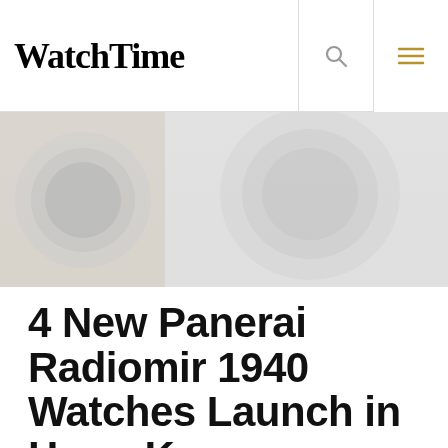WatchTime
[Figure (photo): Blurred/faded image of Panerai watch dials in greyscale background]
4 New Panerai Radiomir 1940 Watches Launch in Hong Kong
Written by
[Figure (photo): Small circular author headshot photo]